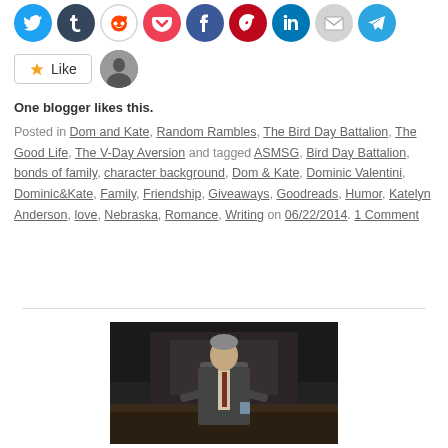[Figure (other): Social media sharing icon buttons (Twitter, Tumblr, Reddit, Pocket, Facebook, Pinterest, LinkedIn, Email, Telegram) as colored circles]
[Figure (other): Like button with star icon and a small avatar circle next to it]
One blogger likes this.
Posted in Dom and Kate, Random Rambles, The Bird Day Battalion, The Good Life, The V-Day Aversion and tagged ASMSG, Bird Day Battalion, bonds of family, character background, Dom & Kate, Dominic Valentini, Dominic&Kate, Family, Friendship, Giveaways, Goodreads, Humor, Katelyn Anderson, love, Nebraska, Romance, Writing on 06/22/2014. 1 Comment
[Figure (photo): A man in a suit and tie leaning on a bar counter in a dark interior setting]